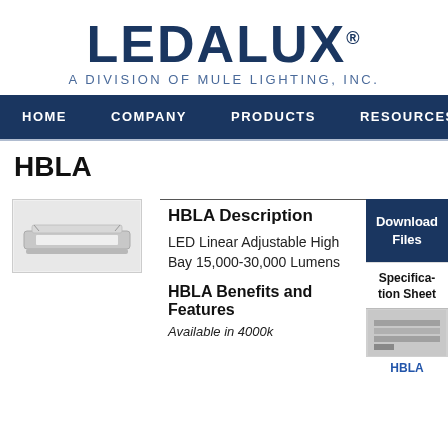[Figure (logo): LEDalux logo - A Division of Mule Lighting, Inc.]
HOME   COMPANY   PRODUCTS   RESOURCES
HBLA
[Figure (photo): Photo of HBLA LED Linear Adjustable High Bay fixture]
HBLA Description
LED Linear Adjustable High Bay 15,000-30,000 Lumens
HBLA Benefits and Features
Available in 4000k...
Download Files
Specification Sheet
HBLA